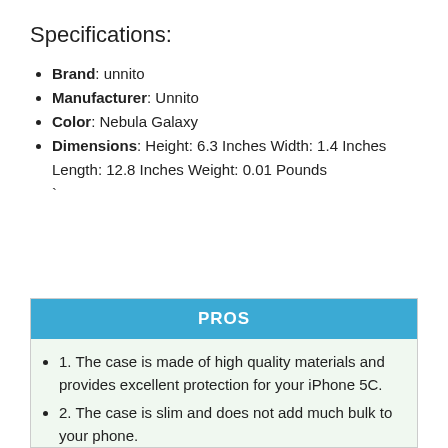Specifications:
Brand: unnito
Manufacturer: Unnito
Color: Nebula Galaxy
Dimensions: Height: 6.3 Inches Width: 1.4 Inches Length: 12.8 Inches Weight: 0.01 Pounds `
PROS
1. The case is made of high quality materials and provides excellent protection for your iPhone 5C.
2. The case is slim and does not add much bulk to your phone.